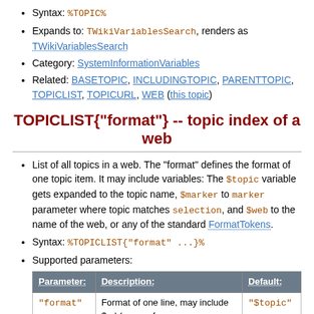Syntax: %TOPIC%
Expands to: TWikiVariablesSearch, renders as TWikiVariablesSearch
Category: SystemInformationVariables
Related: BASETOPIC, INCLUDINGTOPIC, PARENTTOPIC, TOPICLIST, TOPICURL, WEB (this topic)
TOPICLIST{"format"} -- topic index of a web
List of all topics in a web. The "format" defines the format of one topic item. It may include variables: The $topic variable gets expanded to the topic name, $marker to marker parameter where topic matches selection, and $web to the name of the web, or any of the standard FormatTokens.
Syntax: %TOPICLIST{"format" ...}%
Supported parameters:
| Parameter: | Description: | Default: |
| --- | --- | --- |
| "format" | Format of one line, may include $url (name of | "$topic" |